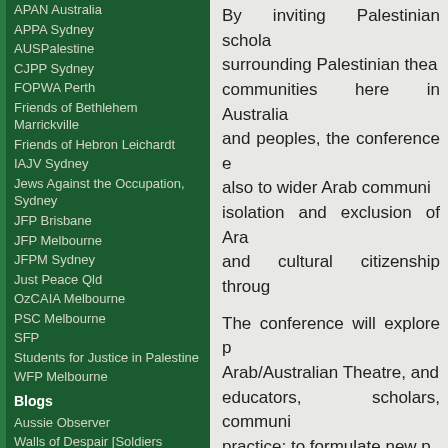APAN Australia
APPA Sydney
AUSPalestine
CJPP Sydney
FOPWA Perth
Friends of Bethlehem Marrickville
Friends of Hebron Leichardt
IAJV Sydney
Jews Against the Occupation, Sydney
JFP Brisbane
JFP Melbourne
JFPM Sydney
Just Peace Qld
OzCAIA Melbourne
PSC Melbourne
SFP
Students for Justice in Palestine
WFP Melbourne
Blogs
Aussie Observer
Walls of Despair [Soldiers testimonies]
Blogs & Groups
A Witness in Palestine
Alan Hart
By inviting Palestinian scholars surrounding Palestinian theatre communities here in Australia and peoples, the conference also to wider Arab communities isolation and exclusion of Arab and cultural citizenship through
The conference will explore Arab/Australian Theatre, and educators, scholars, community practice; to formulate new diverse theatre makers; and to
The conference is supported in Australian Theatre Alliance Australian-Arab Relations (C Government through the Aust
For more information please v
Or contact the Conference Co